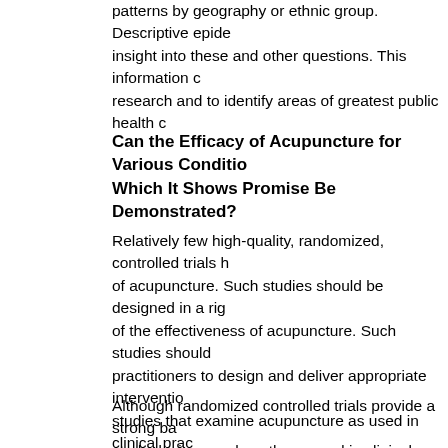patterns by geography or ethnic group. Descriptive epidemiological insight into these and other questions. This information can direct research and to identify areas of greatest public health concern.
Can the Efficacy of Acupuncture for Various Conditions in Which It Shows Promise Be Demonstrated?
Relatively few high-quality, randomized, controlled trials have been conducted of acupuncture. Such studies should be designed in a rigorous manner to test of the effectiveness of acupuncture. Such studies should include skilled practitioners to design and deliver appropriate interventions, as well as studies that examine acupuncture as used in clinical practice, including its theoretical basis for acupuncture therapy.
Although randomized controlled trials provide a strong basis for evidence, study designs such as those used in clinical epidemiology can also provide important insights regarding the usefulness of acupuncture. There have been few such studies in the acupuncture literature.
Do Different Theoretical Bases for Acupuncture Result in Different Outcomes?
Competing theoretical orientations (e.g., Chinese, Japanese) might predict divergent therapeutic approaches (i.e., the selection of points). Research projects should be designed to assess...